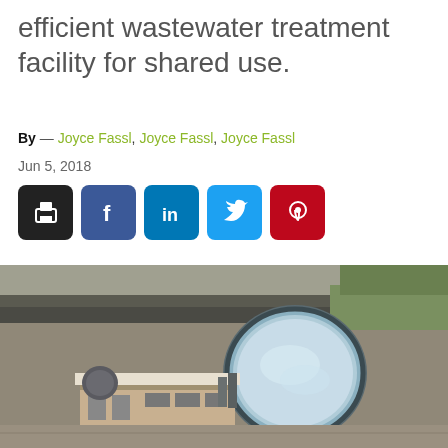efficient wastewater treatment facility for shared use.
By — Joyce Fassl, Joyce Fassl, Joyce Fassl
Jun 5, 2018
[Figure (other): Social sharing buttons: print (black), Facebook (blue), LinkedIn (dark blue), Twitter (light blue), Pinterest (red)]
[Figure (photo): Aerial drone photograph of a wastewater treatment facility showing a large circular tank with water and a rectangular building with brown brick exterior, surrounded by roads and open land.]